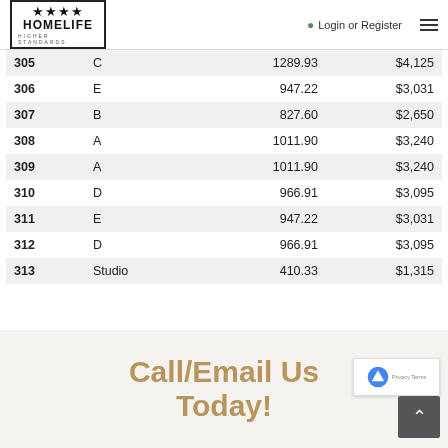HOMELIFE HIGHER STANDARDS — Login or Register
| 305 | C | 1289.93 | $4,125 |
| 306 | E | 947.22 | $3,031 |
| 307 | B | 827.60 | $2,650 |
| 308 | A | 1011.90 | $3,240 |
| 309 | A | 1011.90 | $3,240 |
| 310 | D | 966.91 | $3,095 |
| 311 | E | 947.22 | $3,031 |
| 312 | D | 966.91 | $3,095 |
| 313 | Studio | 410.33 | $1,315 |
Call/Email Us Today!